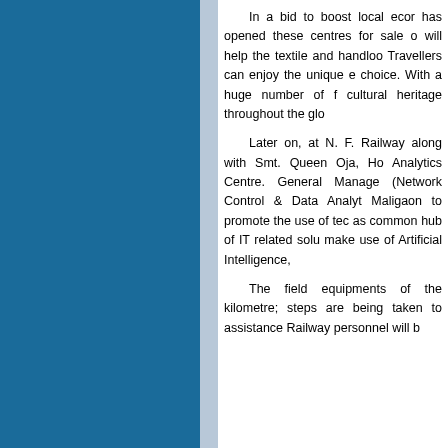In a bid to boost local economy, has opened these centres for sale o will help the textile and handloo Travellers can enjoy the unique e choice. With a huge number of f cultural heritage throughout the glo
Later on, at N. F. Railway along with Smt. Queen Oja, Ho Analytics Centre. General Manage (Network Control & Data Analyt Maligaon to promote the use of tec as common hub of IT related solu make use of Artificial Intelligence,
The field equipments of the kilometre; steps are being taken to assistance Railway personnel will b